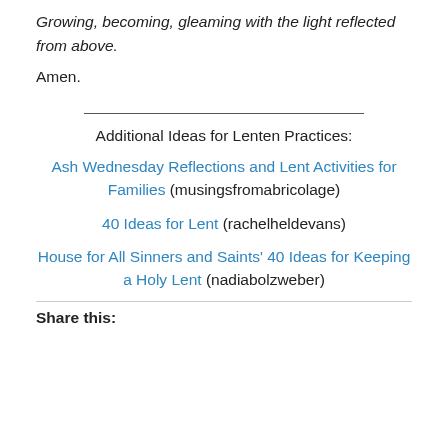Growing, becoming, gleaming with the light reflected from above.
Amen.
Additional Ideas for Lenten Practices:
Ash Wednesday Reflections and Lent Activities for Families (musingsfromabricolage)
40 Ideas for Lent (rachelheldevans)
House for All Sinners and Saints' 40 Ideas for Keeping a Holy Lent (nadiabolzweber)
Share this: